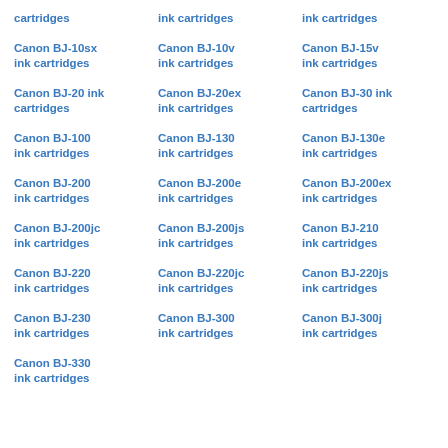cartridges
ink cartridges
ink cartridges
Canon BJ-10sx ink cartridges
Canon BJ-10v ink cartridges
Canon BJ-15v ink cartridges
Canon BJ-20 ink cartridges
Canon BJ-20ex ink cartridges
Canon BJ-30 ink cartridges
Canon BJ-100 ink cartridges
Canon BJ-130 ink cartridges
Canon BJ-130e ink cartridges
Canon BJ-200 ink cartridges
Canon BJ-200e ink cartridges
Canon BJ-200ex ink cartridges
Canon BJ-200jc ink cartridges
Canon BJ-200js ink cartridges
Canon BJ-210 ink cartridges
Canon BJ-220 ink cartridges
Canon BJ-220jc ink cartridges
Canon BJ-220js ink cartridges
Canon BJ-230 ink cartridges
Canon BJ-300 ink cartridges
Canon BJ-300j ink cartridges
Canon BJ-330 ink cartridges